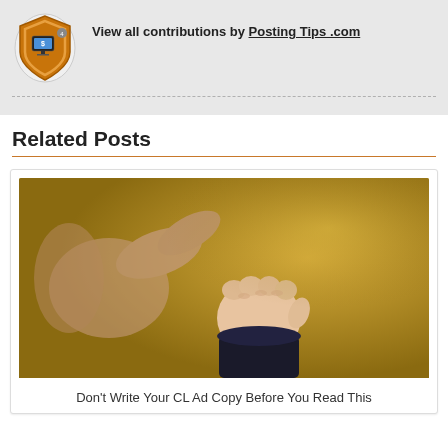[Figure (logo): Orange shield badge icon with a computer/dollar sign graphic]
View all contributions by Posting Tips .com
Related Posts
[Figure (photo): A baby's hand grasping a finger, against a golden/tan blurred background]
Don't Write Your CL Ad Copy Before You Read This